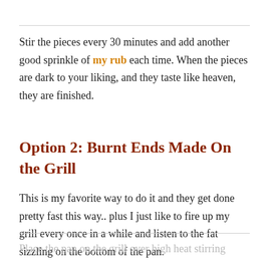Stir the pieces every 30 minutes and add another good sprinkle of my rub each time. When the pieces are dark to your liking, and they taste like heaven, they are finished.
Option 2: Burnt Ends Made On the Grill
This is my favorite way to do it and they get done pretty fast this way.. plus I just like to fire up my grill every once in a while and listen to the fat sizzling on the bottom of the pan.
Place the pan on the grill over high heat stirring